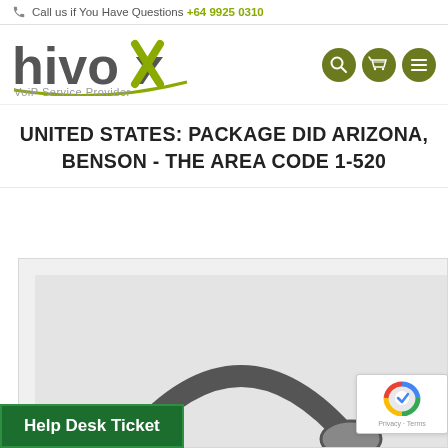Call us if You Have Questions +64 9925 0310
[Figure (logo): Hivoox VoiP Service Provider logo with green accent mark and navigation icons (search, cart, menu)]
UNITED STATES: PACKAGE DID ARIZONA, BENSON - THE AREA CODE 1-520
[Figure (photo): Partial view of an office phone headset on grey background]
Help Desk Ticket